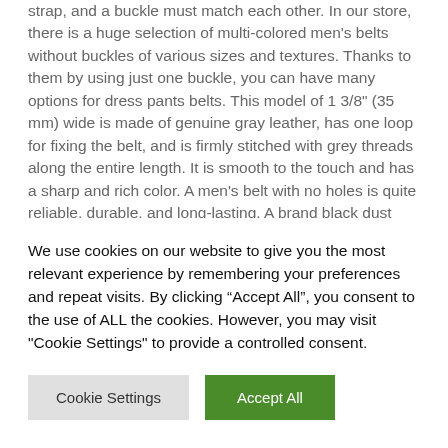strap, and a buckle must match each other. In our store, there is a huge selection of multi-colored men's belts without buckles of various sizes and textures. Thanks to them by using just one buckle, you can have many options for dress pants belts. This model of 1 3/8" (35 mm) wide is made of genuine gray leather, has one loop for fixing the belt, and is firmly stitched with grey threads along the entire length. It is smooth to the touch and has a sharp and rich color. A men's belt with no holes is quite reliable, durable, and long-lasting. A brand black dust bag, a belt authenticity card, and a paper tag come with the strap in the kit. The quality of the replacement belt strap is excellent because it is crafted by the designers of Capo Pelle, a reputed Italian leather belts
We use cookies on our website to give you the most relevant experience by remembering your preferences and repeat visits. By clicking “Accept All”, you consent to the use of ALL the cookies. However, you may visit "Cookie Settings" to provide a controlled consent.